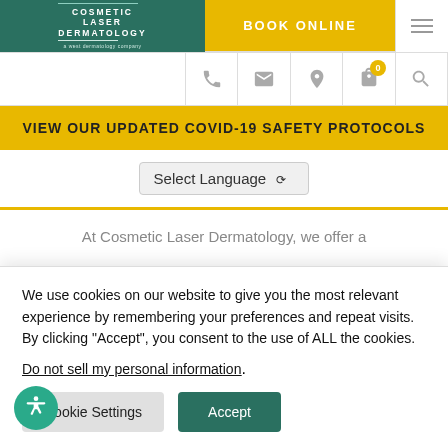[Figure (logo): Cosmetic Laser Dermatology logo with teal background and white text]
BOOK ONLINE
VIEW OUR UPDATED COVID-19 SAFETY PROTOCOLS
Select Language
At Cosmetic Laser Dermatology, we offer a
We use cookies on our website to give you the most relevant experience by remembering your preferences and repeat visits. By clicking "Accept", you consent to the use of ALL the cookies.
Do not sell my personal information.